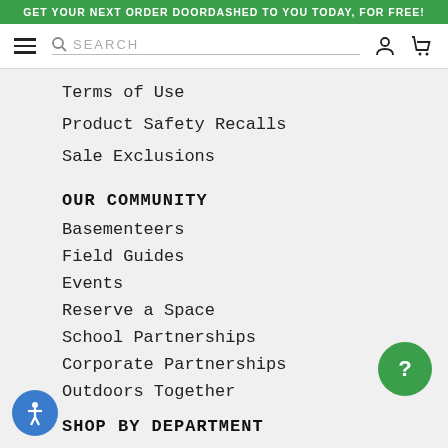GET YOUR NEXT ORDER DOORDASHED TO YOU TODAY, FOR FREE!
[Figure (screenshot): Navigation bar with hamburger menu, search bar, account icon, and cart icon]
Terms of Use
Product Safety Recalls
Sale Exclusions
OUR COMMUNITY
Basementeers
Field Guides
Events
Reserve a Space
School Partnerships
Corporate Partnerships
Outdoors Together
SHOP BY DEPARTMENT